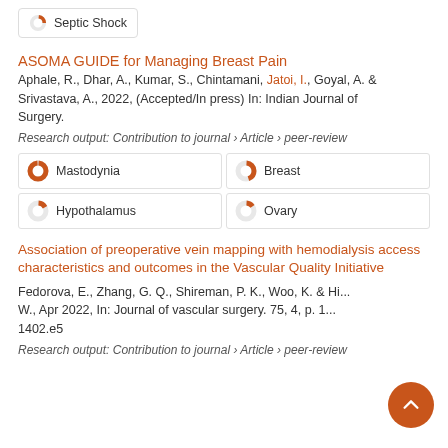Septic Shock
ASOMA GUIDE for Managing Breast Pain
Aphale, R., Dhar, A., Kumar, S., Chintamani, Jatoi, I., Goyal, A. & Srivastava, A., 2022, (Accepted/In press) In: Indian Journal of Surgery.
Research output: Contribution to journal › Article › peer-review
Mastodynia
Breast
Hypothalamus
Ovary
Association of preoperative vein mapping with hemodialysis access characteristics and outcomes in the Vascular Quality Initiative
Fedorova, E., Zhang, G. Q., Shireman, P. K., Woo, K. & Hi... W., Apr 2022, In: Journal of vascular surgery. 75, 4, p. 1... 1402.e5
Research output: Contribution to journal › Article › peer-review